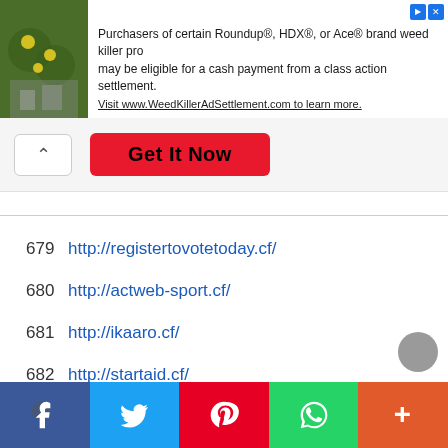[Figure (screenshot): Advertisement banner with plant image on left. Text reads: Purchasers of certain Roundup®, HDX®, or Ace® brand weed killer products may be eligible for a cash payment from a class action settlement. Visit www.WeedKillerAdSettlement.com to learn more.]
[Figure (screenshot): Action bar with collapse (^) button and a red 'Get It Now' button]
679  http://registertovotetoday.cf/
680  http://actweb-sport.cf/
681  http://ikaaro.cf/
682  http://startaid.cf/
683  http://stumbleuponbookmarks.cf/
684  http://cachebookmarkingsite.cf/
[Figure (screenshot): Social sharing footer bar with Facebook, Twitter, Pinterest, WhatsApp, and more (+) buttons]